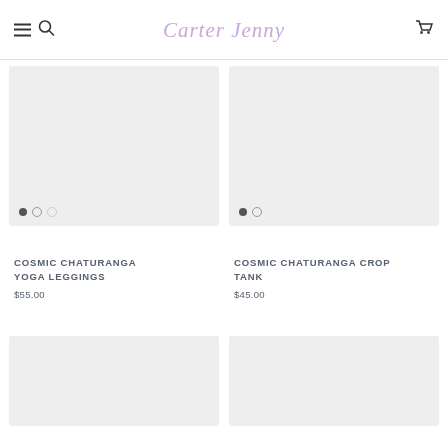Carter + Jenny — navigation header with menu, search, logo, cart
[Figure (photo): Product image placeholder for Cosmic Chaturanga Yoga Leggings — light grey rectangle with three dot carousel indicators]
[Figure (photo): Product image placeholder for Cosmic Chaturanga Crop Tank — light grey rectangle with two dot carousel indicators]
COSMIC CHATURANGA YOGA LEGGINGS
$55.00
COSMIC CHATURANGA CROP TANK
$45.00
[Figure (photo): Product image placeholder bottom left — light grey rectangle, partially shown]
[Figure (photo): Product image placeholder bottom right — light grey rectangle, partially shown]